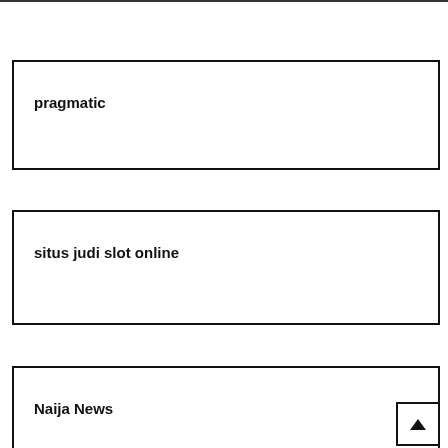pragmatic
situs judi slot online
Naija News